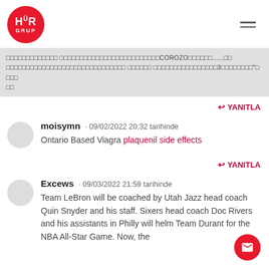HÜR GRUP logo and hamburger menu
□□□□□□□□□□□□□ □□□□□□□□□□□□□□□□□□□□□□□□□COROZO□□□□□□......□□ □□□□□□□□□□□□□□□□□□□□□□□□□□□□ □□□□□□ □□□□□□□□□□□□□□□□3□□□□□□□□"□□□□ □□
YANITLA
moisymn · 09/02/2022 20:32 tarihinde
Ontario Based Viagra plaquenil side effects
YANITLA
Excews · 09/03/2022 21:59 tarihinde
Team LeBron will be coached by Utah Jazz head coach Quin Snyder and his staff. Sixers head coach Doc Rivers and his assistants in Philly will helm Team Durant for the NBA All-Star Game. Now, the